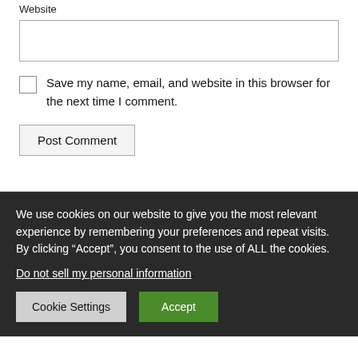Website
Save my name, email, and website in this browser for the next time I comment.
Post Comment
We use cookies on our website to give you the most relevant experience by remembering your preferences and repeat visits. By clicking “Accept”, you consent to the use of ALL the cookies.
Do not sell my personal information.
Cookie Settings
Accept